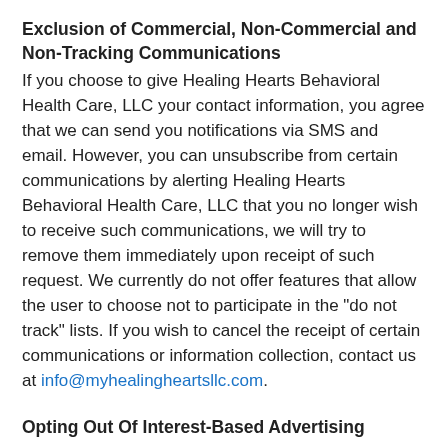Exclusion of Commercial, Non-Commercial and Non-Tracking Communications
If you choose to give Healing Hearts Behavioral Health Care, LLC your contact information, you agree that we can send you notifications via SMS and email. However, you can unsubscribe from certain communications by alerting Healing Hearts Behavioral Health Care, LLC that you no longer wish to receive such communications, we will try to remove them immediately upon receipt of such request. We currently do not offer features that allow the user to choose not to participate in the "do not track" lists. If you wish to cancel the receipt of certain communications or information collection, contact us at info@myhealingheartsllc.com.
Opting Out Of Interest-Based Advertising
If you prefer not to receive interest-based advertising from Healing Hearts Behavioral Health Care LLC, you can opt-out of interest-based advertising at any time. Please note that if you opt-out of interest-based advertising, you will still receive "generic" ads from Healing Hearts Behavioral Health